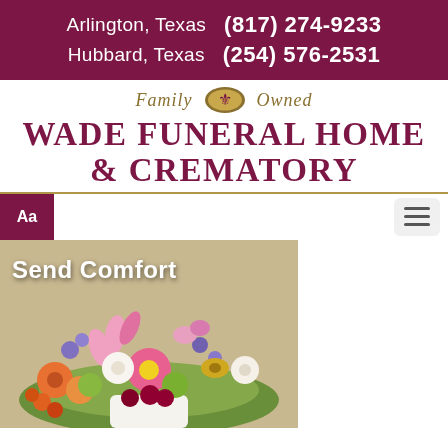Arlington, Texas (817) 274-9233
Hubbard, Texas (254) 576-2531
[Figure (logo): Wade Funeral Home & Crematory logo with Family Owned banner and fleur-de-lis emblem]
Wade Funeral Home & Crematory
[Figure (photo): Colorful floral arrangement with text overlay 'Send Comfort']